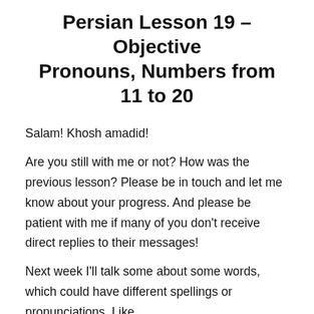Persian Lesson 19 – Objective Pronouns, Numbers from 11 to 20
Salam! Khosh amadid!
Are you still with me or not? How was the previous lesson? Please be in touch and let me know about your progress. And please be patient with me if many of you don't receive direct replies to their messages!
Next week I'll talk some about some words, which could have different spellings or pronunciations. Like صبح خواندن /kha:ndæn/. /sobh/ and some